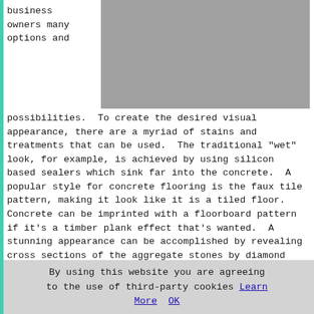business owners many options and
[Figure (photo): Gray textured surface, likely concrete flooring]
possibilities. To create the desired visual appearance, there are a myriad of stains and treatments that can be used. The traditional "wet" look, for example, is achieved by using silicon based sealers which sink far into the concrete. A popular style for concrete flooring is the faux tile pattern, making it look like it is a tiled floor. Concrete can be imprinted with a floorboard pattern if it's a timber plank effect that's wanted. A stunning appearance can be accomplished by revealing cross sections of the aggregate stones by diamond grinding concrete floors.
By staining and treating the concrete surface, it is easy to create practically any shade or coloration you can imagine. By employing this process, even the the
By using this website you are agreeing to the use of third-party cookies Learn More OK